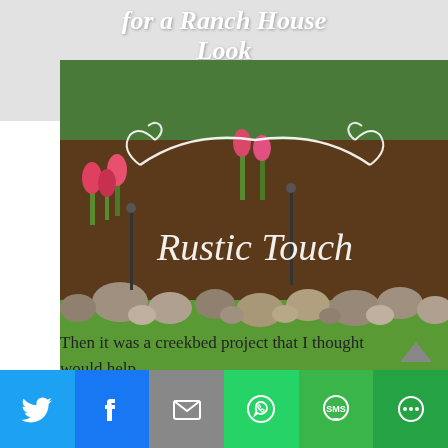for a Ranch House Look
[Figure (photo): Garden bed with tulips, rocks, mulch, and grass lawn. White decorative swirl graphic overlay with text 'Rustic Touch' in elegant font.]
Then it was a creekbed project that I thought would help
[Figure (infographic): Social share bar with Twitter, Facebook, Mail, WhatsApp, SMS, and More buttons in blue, gray, green colors]